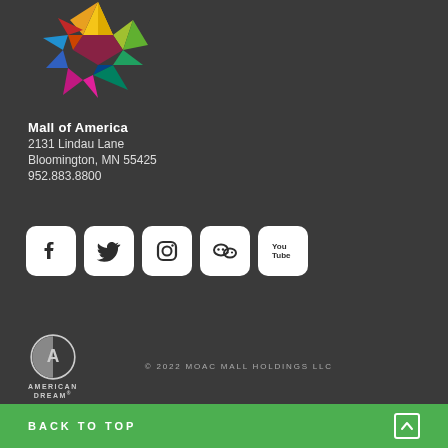[Figure (logo): Mall of America colorful star logo made of geometric colored shapes]
Mall of America
2131 Lindau Lane
Bloomington, MN 55425
952.883.8800
[Figure (infographic): Five social media icons: Facebook, Twitter, Instagram, WeChat, YouTube]
[Figure (logo): American Dream logo - circular icon with A inside]
© 2022 MOAC MALL HOLDINGS LLC
BACK TO TOP